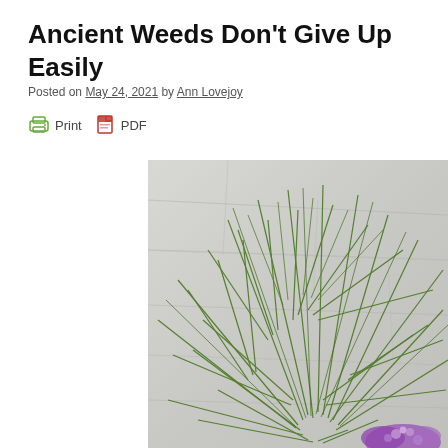Ancient Weeds Don't Give Up Easily
Posted on May 24, 2021 by Ann Lovejoy
Print  PDF
[Figure (photo): Close-up photograph of thin, feathery green weed stems with needle-like foliage spreading outward against a pale grey stone or concrete background. Purple flower visible at lower right corner.]